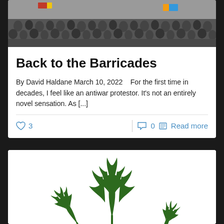[Figure (photo): Aerial view of a large crowd of protesters with flags]
Back to the Barricades
By David Haldane March 10, 2022    For the first time in decades, I feel like an antiwar protestor. It's not an entirely novel sensation. As [...]
♡ 3    ○ 0  ≡  Read more
[Figure (photo): Cannabis / marijuana leaf illustration on white background]